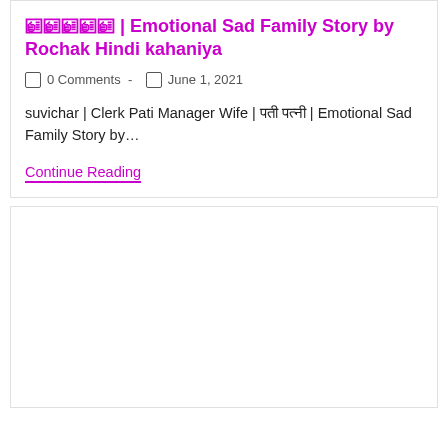□□□□□ | Emotional Sad Family Story by Rochak Hindi kahaniya
0 Comments - June 1, 2021
suvichar | Clerk Pati Manager Wife | □□□ □□□□□ | Emotional Sad Family Story by…
Continue Reading